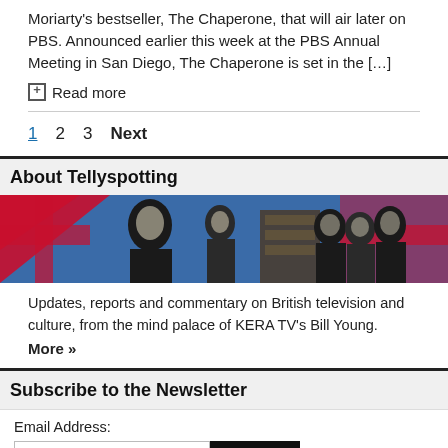Moriarty's bestseller, The Chaperone, that will air later on PBS. Announced earlier this week at the PBS Annual Meeting in San Diego, The Chaperone is set in the [...]
Read more
1  2  3  Next
About Tellyspotting
[Figure (photo): Banner image for Tellyspotting showing British TV characters including Mr. Bean, a detective, a red double-decker bus, and various other characters against a Union Jack flag background.]
Updates, reports and commentary on British television and culture, from the mind palace of KERA TV's Bill Young. More »
Subscribe to the Newsletter
Email Address: